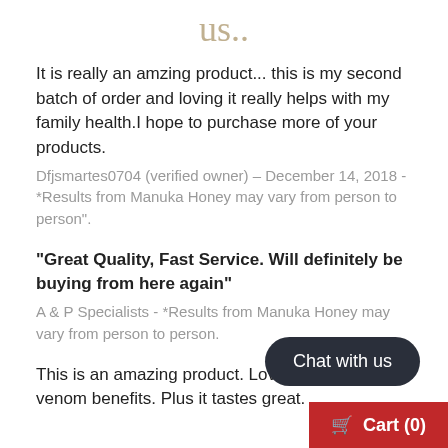us..
It is really an amzing product... this is my second batch of order and loving it really helps with my family health.I hope to purchase more of your products.
Dfjsmartes0704 (verified owner) – December 14, 2018 - *Results from Manuka Honey may vary from person to person".
"Great Quality, Fast Service. Will definitely be buying from here again"
A & P Specialists - *Results from Manuka Honey may vary from person to person.
This is an amazing product. Love th... venom benefits. Plus it tastes great.